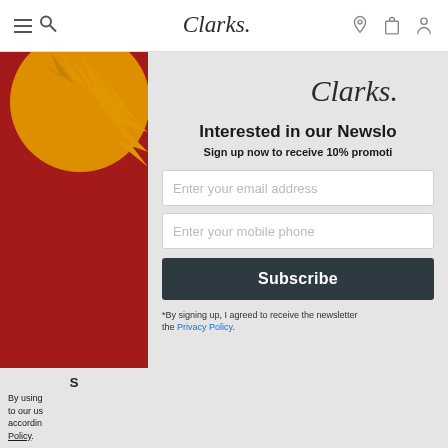[Figure (screenshot): Clarks website navigation bar with hamburger menu, search icon, Clarks script logo centered, and location/bag/profile icons on the right]
[Figure (photo): Partial view of a red and yellow promotional image on the left side of the page behind a modal overlay]
S
By using [obscured] to our us[e] accordin[g] Policy.
[Figure (screenshot): Clarks newsletter signup modal with logo, headline 'Interested in our Newsletter?', subtext 'Sign up now to receive 10% promoti...', email input, mobile phone input, Subscribe button, and privacy policy disclaimer]
Interested in our Newsletter?
Sign up now to receive 10% promoti...
Enter your email address
Enter your mobile phone
Subscribe
*By signing up, I agreed to receive the newsletter... the Privacy Policy.